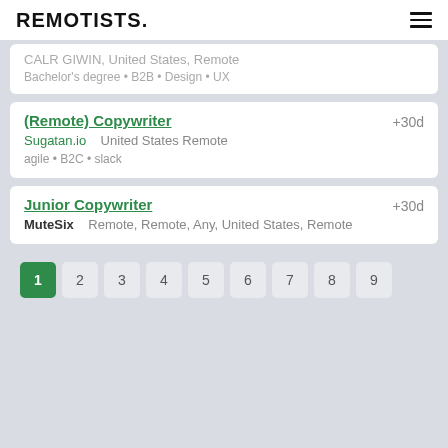REMOTISTS.
CALR GIWIN, United States, Remote
Bachelor's degree • B2B • Design • UX
(Remote) Copywriter +30d
Sugatan.io   United States Remote
agile • B2C • slack
Junior Copywriter +30d
MuteSix   Remote, Remote, Any, United States, Remote
1 2 3 4 5 6 7 8 9